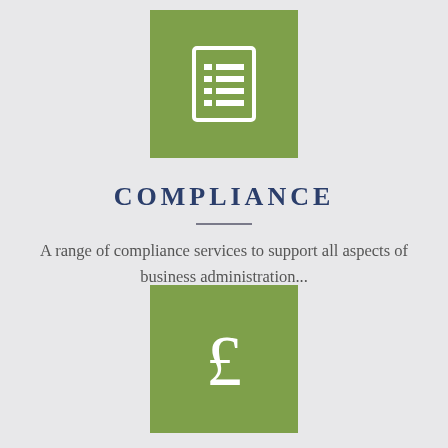[Figure (illustration): Green square icon with a white checklist/document list icon]
COMPLIANCE
A range of compliance services to support all aspects of business administration...
[Figure (illustration): Green square icon with a white pound sterling (£) currency symbol]